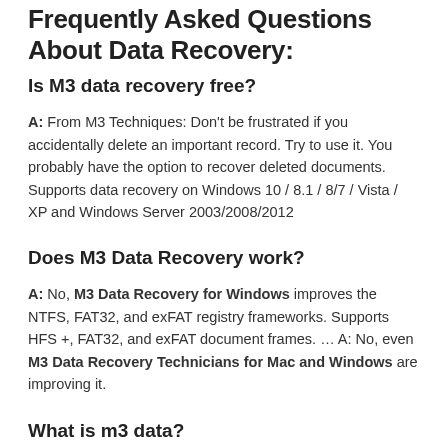Frequently Asked Questions About Data Recovery:
Is M3 data recovery free?
A: From M3 Techniques: Don't be frustrated if you accidentally delete an important record. Try to use it. You probably have the option to recover deleted documents. Supports data recovery on Windows 10 / 8.1 / 8/7 / Vista / XP and Windows Server 2003/2008/2012
Does M3 Data Recovery work?
A: No, M3 Data Recovery for Windows improves the NTFS, FAT32, and exFAT registry frameworks. Supports HFS +, FAT32, and exFAT document frames. … A: No, even M3 Data Recovery Technicians for Mac and Windows are improving it.
What is m3 data?
A: It is a device that recovers data from the RAW hard drive,